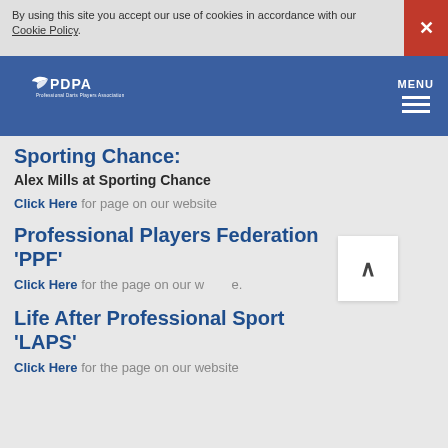By using this site you accept our use of cookies in accordance with our Cookie Policy.
[Figure (logo): PDPA Professional Darts Players Association logo in white on blue background]
Sporting Chance:
Alex Mills at Sporting Chance
Click Here for page on our website
Professional Players Federation 'PPF'
Click Here for the page on our website.
Life After Professional Sport 'LAPS'
Click Here for the page on our website